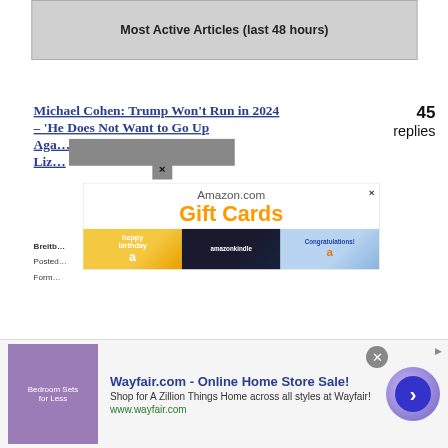Most Active Articles (last 48 hours)
Michael Cohen: Trump Won't Run in 2024 – 'He Does Not Want to Go Up Again… Liz…
45 replies
Breitb…
Posted…
Form…
[Figure (screenshot): Amazon.com Gift Cards popup advertisement showing three gift card images: happy birthday, Amazon Kindle, and Congratulations]
[Figure (screenshot): Wayfair.com Online Home Store Sale advertisement banner at the bottom with text 'Shop for A Zillion Things Home across all styles at Wayfair!' and www.wayfair.com URL, with a purple play button]